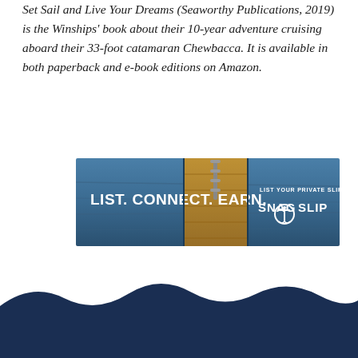Set Sail and Live Your Dreams (Seaworthy Publications, 2019) is the Winships' book about their 10-year adventure cruising aboard their 33-foot catamaran Chewbacca. It is available in both paperback and e-book editions on Amazon.
[Figure (illustration): Horizontal banner advertisement for Snag A Slip. Dark blue ocean water background with a wooden dock in the center. White bold text on left reads 'LIST. CONNECT. EARN.' On the right, smaller white text reads 'LIST YOUR PRIVATE SLIP WITH' above the 'SNAG A SLIP' logo with an anchor icon.]
[Figure (illustration): Dark navy blue wave shape at the bottom of the page, creating a decorative footer element with a wave silhouette.]